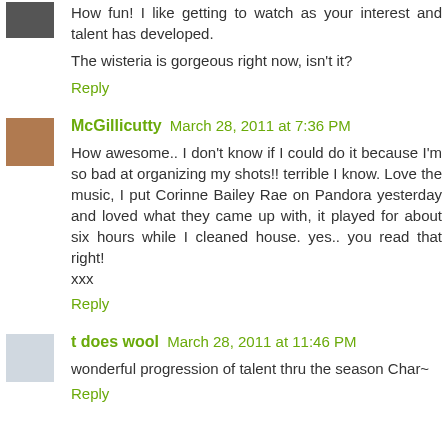How fun! I like getting to watch as your interest and talent has developed.
The wisteria is gorgeous right now, isn't it?
Reply
McGillicutty  March 28, 2011 at 7:36 PM
How awesome.. I don't know if I could do it because I'm so bad at organizing my shots!! terrible I know. Love the music, I put Corinne Bailey Rae on Pandora yesterday and loved what they came up with, it played for about six hours while I cleaned house. yes.. you read that right!
xxx
Reply
t does wool  March 28, 2011 at 11:46 PM
wonderful progression of talent thru the season Char~
Reply